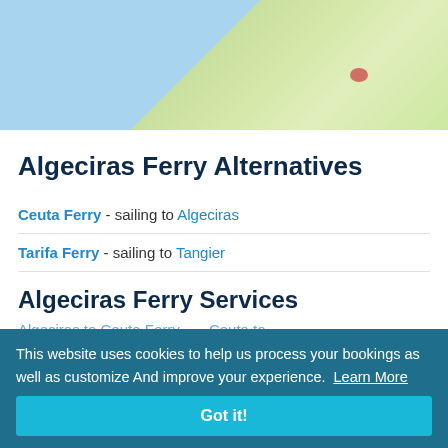[Figure (map): Partial map showing a coastal region with blue sea on the left and green/yellow land on the right, with a red dot indicating a location.]
Algeciras Ferry Alternatives
Ceuta Ferry - sailing to Algeciras
Tarifa Ferry - sailing to Tangier
Algeciras Ferry Services
This website uses cookies to help us process your bookings as well as customize And improve your experience. Learn More
Got it!